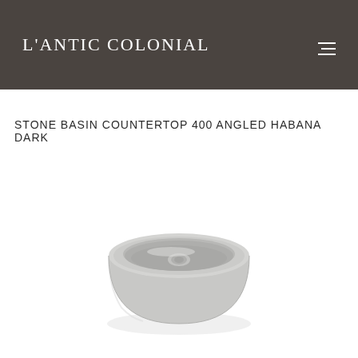L'ANTIC COLONIAL
STONE BASIN COUNTERTOP 400 ANGLED HABANA DARK
[Figure (photo): Round countertop stone basin, light grey/white color, cylindrical shape with angled interior, viewed from slightly above at an angle. Product: Stone Basin Countertop 400 Angled Habana Dark by L'Antic Colonial.]